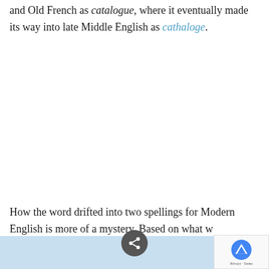and Old French as catalogue, where it eventually made its way into late Middle English as cathaloge.
How the word drifted into two spellings for Modern English is more of a mystery. Based on what w